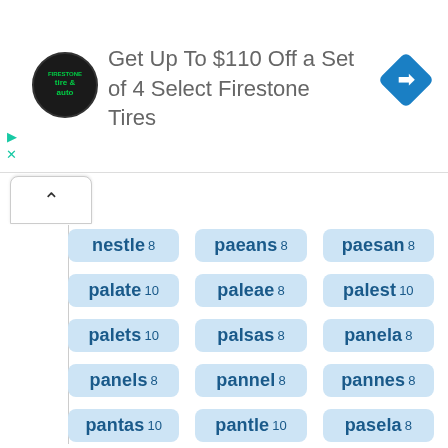[Figure (other): Advertisement banner: tire & auto logo, text 'Get Up To $110 Off a Set of 4 Select Firestone Tires', blue diamond navigation icon on right]
nestle 8
paeans 8
paesan 8
palate 10
paleae 8
palest 10
palets 10
palsas 8
panela 8
panels 8
pannel 8
pannes 8
pantas 10
pantle 10
pasela 8